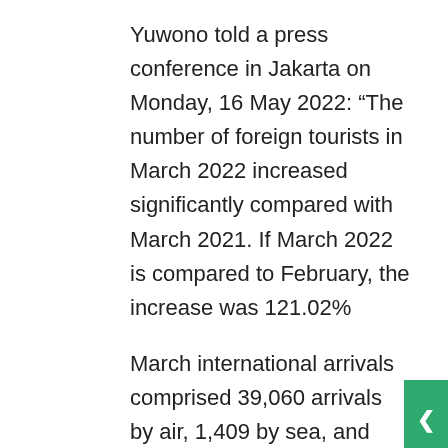Yuwono told a press conference in Jakarta on Monday, 16 May 2022: “The number of foreign tourists in March 2022 increased significantly compared with March 2021. If March 2022 is compared to February, the increase was 121.02%
March international arrivals comprised 39,060 arrivals by air, 1,409 by sea, and overland 319. In March 2022, the number of air arrivals increased 203.94% compared to March 2021.
In Bali, observers say an even more dramatic increase in foreign arrivals is being curtailed somewhat by the rising cost of air travel and limited flight frequency. Based on the Indonesian Tourism Promotion Board (GIPI)